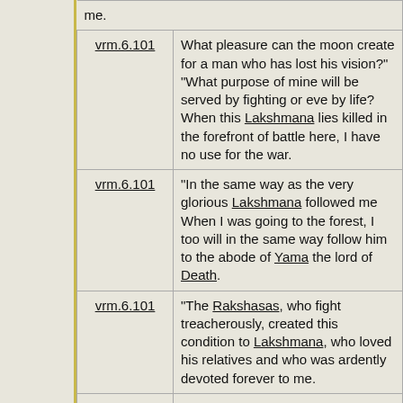| Reference | Text |
| --- | --- |
| vrm.6.101 | What pleasure can the moon create for a man who has lost his vision?" "What purpose of mine will be served by fighting or eve by life? When this Lakshmana lies killed in the forefront of battle here, I have no use for the war. |
| vrm.6.101 | "In the same way as the very glorious Lakshmana followed me When I was going to the forest, I too will in the same way follow him to the abode of Yama the lord of Death. |
| vrm.6.101 | "The Rakshasas, who fight treacherously, created this condition to Lakshmana, who loved his relatives and who was ardently devoted forever to me. |
| vrm.6.101 | "Of what use is the kingdom for me, without Lakshmana, who was difficult to over power? What can I tell to Sumitra, the mother who was so fond of her son?" "I shall not be able to bear the reproach, which will be levelled by Sumitra. |
| vrm.6.101 | What shall I pay to kausalya the mother or what shall I say to Kaikeyi? What shall I tell... |